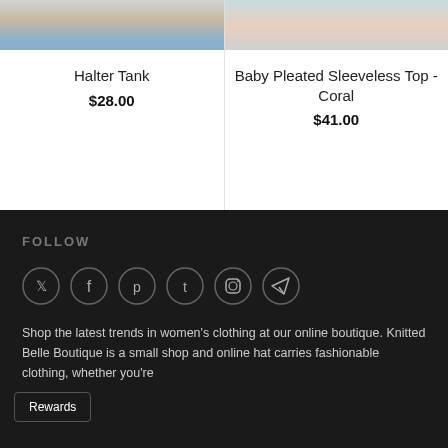[Figure (photo): Product image of Halter Tank top (cropped, partial view of denim shorts and top)]
Halter Tank
$28.00
[Figure (photo): Product image of Baby Pleated Sleeveless Top in Coral (cropped, partial view)]
Baby Pleated Sleeveless Top - Coral
$41.00
FOLLOW
[Figure (infographic): Six social media icons in circles: Twitter, Facebook, Pinterest, Tumblr, Instagram, Telegram]
Shop the latest trends in women's clothing at our online boutique. Knitted Belle Boutique is a small shop and online hat carries fashionable clothing, whether you're